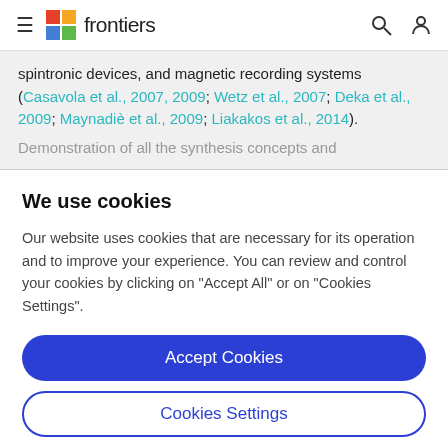frontiers
spintronic devices, and magnetic recording systems (Casavola et al., 2007, 2009; Wetz et al., 2007; Deka et al., 2009; Maynadiè et al., 2009; Liakakos et al., 2014).
Demonstration of all the synthesis concepts and
We use cookies
Our website uses cookies that are necessary for its operation and to improve your experience. You can review and control your cookies by clicking on "Accept All" or on "Cookies Settings".
Accept Cookies
Cookies Settings